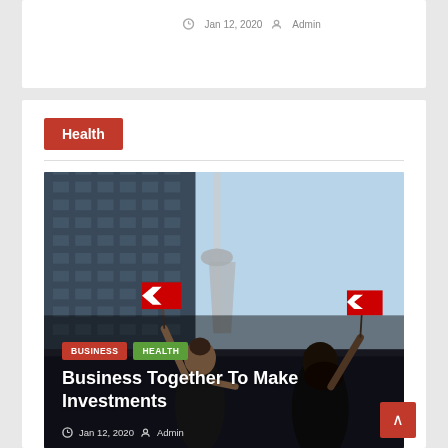Jan 12, 2020  Admin
Health
[Figure (photo): Two women holding Canadian flags with the CN Tower visible in the background against a blue sky. One woman facing away has her arm raised holding a small Canadian flag on the left; the other woman with dark hair also has her arm raised holding a Canadian flag on the right.]
BUSINESS  HEALTH
Business Together To Make Investments
Jan 12, 2020  Admin